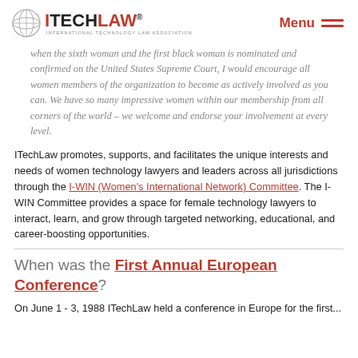ITechLaw® INTERNATIONAL TECHNOLOGY LAW ASSOCIATION | Menu
when the sixth woman and the first black woman is nominated and confirmed on the United States Supreme Court, I would encourage all women members of the organization to become as actively involved as you can. We have so many impressive women within our membership from all corners of the world – we welcome and endorse your involvement at every level.
ITechLaw promotes, supports, and facilitates the unique interests and needs of women technology lawyers and leaders across all jurisdictions through the I-WIN (Women's International Network) Committee. The I-WIN Committee provides a space for female technology lawyers to interact, learn, and grow through targeted networking, educational, and career-boosting opportunities.
When was the First Annual European Conference?
On June 1 - 3, 1988 ITechLaw held a conference in Europe for the first...